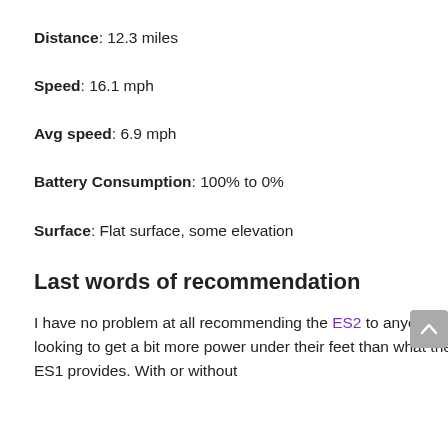Distance: 12.3 miles
Speed: 16.1 mph
Avg speed: 6.9 mph
Battery Consumption: 100% to 0%
Surface: Flat surface, some elevation
Last words of recommendation
I have no problem at all recommending the ES2 to anyone looking to get a bit more power under their feet than what the ES1 provides. With or without